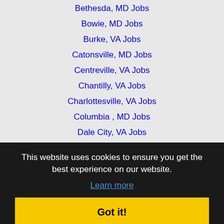Bethesda, MD Jobs
Bowie, MD Jobs
Burke, VA Jobs
Catonsville, MD Jobs
Centreville, VA Jobs
Chantilly, VA Jobs
Charlottesville, VA Jobs
Columbia , MD Jobs
Dale City, VA Jobs
Dundalk, MD Jobs
Eldersburg, MD Jobs
Ellicott City, MD Jobs
Franconia, VA Jobs
Frederick, MD Jobs
Germantown, MD Jobs
Harrisburg, PA Jobs
Lancaster, PA Jobs
Leesburg, VA Jobs
This website uses cookies to ensure you get the best experience on our website.
Learn more
Got it!